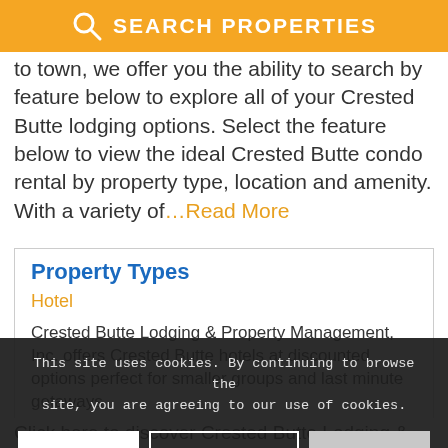SEARCH PROPERTIES
to town, we offer you the ability to search by feature below to explore all of your Crested Butte lodging options. Select the feature below to view the ideal Crested Butte condo rental by property type, location and amenity. With a variety of…Read More
Property Types
Hotel
Crested Butte Lodging & Property Management, Inc. offers Crested Butte hotels at discounted options perfect for smaller groups and last minute getaways.
This site uses cookies. By continuing to browse the site, you are agreeing to our use of cookies.
Click here to discover Crested Butte Lodging &